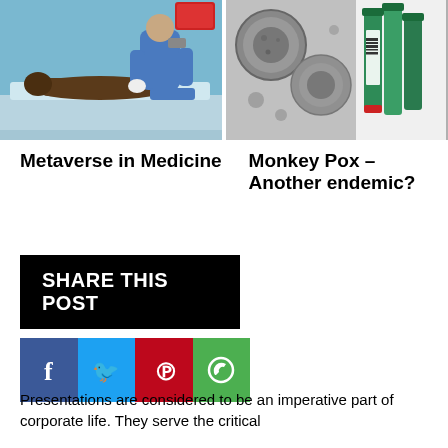[Figure (photo): Medical scene showing a patient lying on a table with a healthcare professional standing nearby in a metaverse/virtual setting with blue tones]
[Figure (photo): Monkeypox virus microscopy image combined with labeled test tubes reading MPOX VIRUS]
Metaverse in Medicine
Monkey Pox – Another endemic?
SHARE THIS POST
[Figure (infographic): Social media share buttons: Facebook (blue), Twitter (light blue), Pinterest (red), WhatsApp (green)]
Presentations are considered to be an imperative part of corporate life. They serve the critical